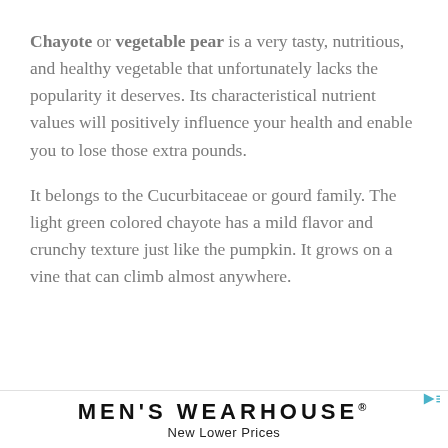Chayote or vegetable pear is a very tasty, nutritious, and healthy vegetable that unfortunately lacks the popularity it deserves. Its characteristical nutrient values will positively influence your health and enable you to lose those extra pounds.
It belongs to the Cucurbitaceae or gourd family. The light green colored chayote has a mild flavor and crunchy texture just like the pumpkin. It grows on a vine that can climb almost anywhere.
[Figure (other): Men's Wearhouse advertisement banner with text 'MEN'S WEARHOUSE® New Lower Prices']